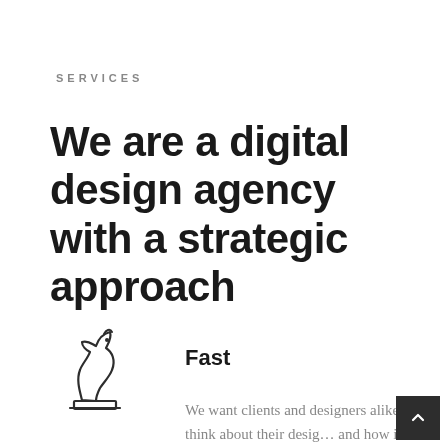SERVICES
We are a digital design agency with a strategic approach
[Figure (illustration): Chess knight piece icon in outline style, thin lines, with a base line underneath]
Fast
We want clients and designers alike to think about their design and how it will work